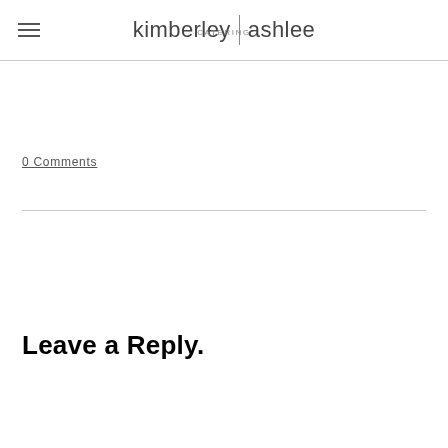kimberley | ashlee CATERING
0 Comments
Leave a Reply.